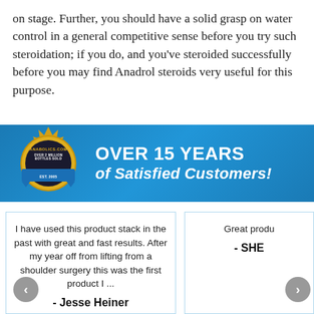on stage. Further, you should have a solid grasp on water control in a general competitive sense before you try such steroidation; if you do, and you've steroided successfully before you may find Anadrol steroids very useful for this purpose.
[Figure (infographic): Blue banner with gold badge/seal showing 'ANABOLICS.COM', 'OVER 2 MILLION BOTTLES SOLD', 'EST. 2005' and text 'OVER 15 YEARS of Satisfied Customers!']
I have used this product stack in the past with great and fast results. After my year off from lifting from a shoulder surgery this was the first product I ... - Jesse Heiner
Great produ... - SHE...